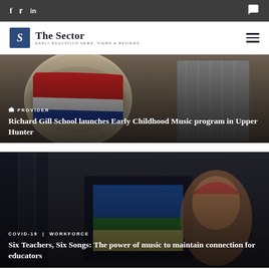The Sector – Early Education News, Views & Reviews – social: Facebook, Twitter, LinkedIn
[Figure (photo): Photo of musical drums/percussion instruments with red, white, and blue striped drum heads]
PROVIDER
Richard Gill School launches Early Childhood Music program in Upper Hunter
[Figure (photo): Dark photo of books/CDs stacked with colorful covers visible]
COVID-19 | WORKFORCE
Six Teachers, Six Songs: The power of music to maintain connection for educators